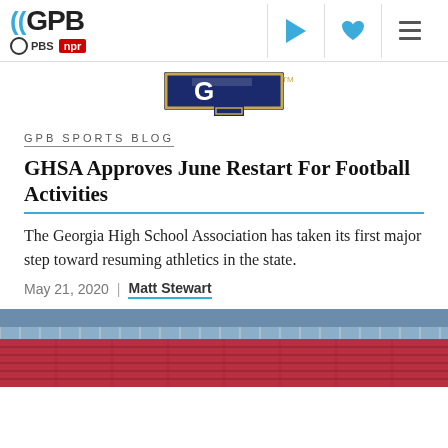GPB | PBS | NPR
[Figure (logo): GHSA logo — navy blue G with gold border]
GPB SPORTS BLOG
GHSA Approves June Restart For Football Activities
The Georgia High School Association has taken its first major step toward resuming athletics in the state.
May 21, 2020  |  Matt Stewart
[Figure (photo): Aerial view of a stadium with red seats and a partial crowd]